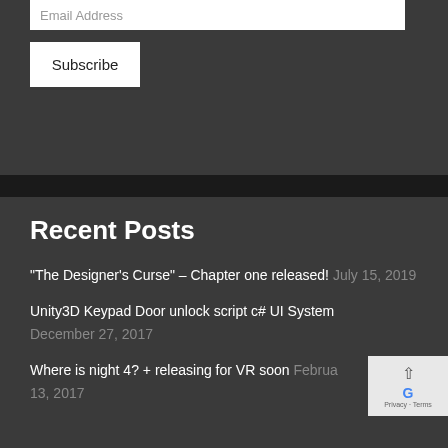Email Address
Subscribe
Recent Posts
“The Designer’s Curse” – Chapter one released! July 15, 2019
Unity3D Keypad Door unlock script c# UI System December 27, 2017
Where is night 4? + releasing for VR soon February 13, 2017